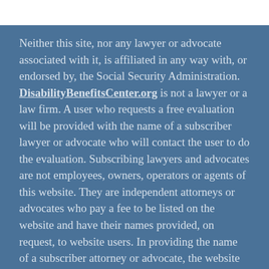Neither this site, nor any lawyer or advocate associated with it, is affiliated in any way with, or endorsed by, the Social Security Administration. DisabilityBenefitsCenter.org is not a lawyer or a law firm. A user who requests a free evaluation will be provided with the name of a subscriber lawyer or advocate who will contact the user to do the evaluation. Subscribing lawyers and advocates are not employees, owners, operators or agents of this website. They are independent attorneys or advocates who pay a fee to be listed on the website and have their names provided, on request, to website users. In providing the name of a subscriber attorney or advocate, the website does not evaluate a user's matter, and it does not endorse or vouch for a lawyer or advocate's credentials, abilities, competence, character, or other professional qualities. To find an independent attorney or